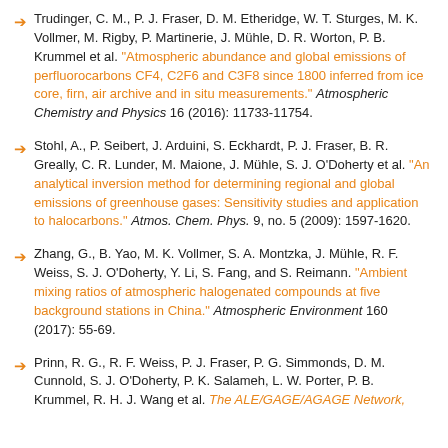Trudinger, C. M., P. J. Fraser, D. M. Etheridge, W. T. Sturges, M. K. Vollmer, M. Rigby, P. Martinerie, J. Mühle, D. R. Worton, P. B. Krummel et al. "Atmospheric abundance and global emissions of perfluorocarbons CF4, C2F6 and C3F8 since 1800 inferred from ice core, firn, air archive and in situ measurements." Atmospheric Chemistry and Physics 16 (2016): 11733-11754.
Stohl, A., P. Seibert, J. Arduini, S. Eckhardt, P. J. Fraser, B. R. Greally, C. R. Lunder, M. Maione, J. Mühle, S. J. O'Doherty et al. "An analytical inversion method for determining regional and global emissions of greenhouse gases: Sensitivity studies and application to halocarbons." Atmos. Chem. Phys. 9, no. 5 (2009): 1597-1620.
Zhang, G., B. Yao, M. K. Vollmer, S. A. Montzka, J. Mühle, R. F. Weiss, S. J. O'Doherty, Y. Li, S. Fang, and S. Reimann. "Ambient mixing ratios of atmospheric halogenated compounds at five background stations in China." Atmospheric Environment 160 (2017): 55-69.
Prinn, R. G., R. F. Weiss, P. J. Fraser, P. G. Simmonds, D. M. Cunnold, S. J. O'Doherty, P. K. Salameh, L. W. Porter, P. B. Krummel, R. H. J. Wang et al. The ALE/GAGE/AGAGE Network,